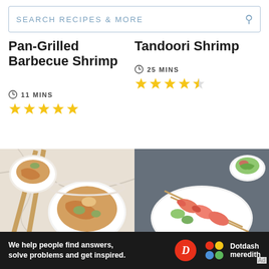SEARCH RECIPES & MORE
Pan-Grilled Barbecue Shrimp
11 MINS
Tandoori Shrimp
25 MINS
[Figure (photo): Bowl of Char Kway Teow noodles with chopsticks on a white marble surface]
SOUTHEAST ASIAN MAI...
Char Kway Teow (Malaysian Stir-
[Figure (photo): Grilled shrimp skewers on a white plate with a salad bowl in background]
BBQ FOOD
How to Grill Shrimp to Perfection
Ad
We help people find answers, solve problems and get inspired.
[Figure (logo): Dotdash Meredith logo with D circle and colorful circles logo]